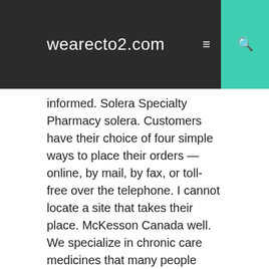wearecto2.com
informed. Solera Specialty Pharmacy solera. Customers have their choice of four simple ways to place their orders — online, by mail, by fax, or toll-free over the telephone. I cannot locate a site that takes their place. McKesson Canada well. We specialize in chronic care medicines that many people must take to sustain or improve their life. Choose from cars, safety, health, and more! CVS Pharmacy, Inc caremark. We are trusting our medication supply on a totally amateurish industry. North Coast Medical Supply northcoastmed. Pet Rescue Rx petrescuerx. Please try again. Not only can face masks alleviate skin problems, but they can also double as a stress reliever during a long, hard week. You can't be